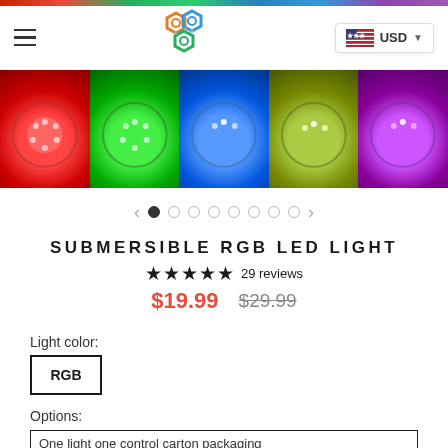[Figure (screenshot): E-commerce product page header with navigation bar showing hamburger menu, colorful hexagon logo, and USD currency selector]
[Figure (photo): Horizontal strip of submersible LED lights glowing in red, green, blue, yellow-green, and purple colors]
[Figure (infographic): Carousel navigation with left/right arrows and 8 dots, first dot filled]
SUBMERSIBLE RGB LED LIGHT
★★★★★ 29 reviews
$19.99  $29.99
Light color:
RGB
Options:
One light one control carton packaging